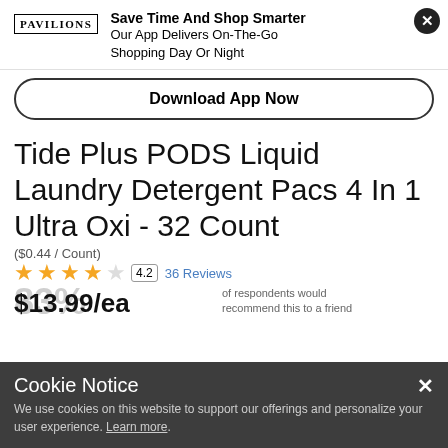[Figure (logo): Pavilions grocery store logo text in serif font with border]
Save Time And Shop Smarter
Our App Delivers On-The-Go Shopping Day Or Night
Download App Now
Tide Plus PODS Liquid Laundry Detergent Pacs 4 In 1 Ultra Oxi - 32 Count
($0.44 / Count)
4.2   36 Reviews
83% of respondents would recommend this to a friend
$13.99/ea
Cookie Notice
We use cookies on this website to support our offerings and personalize your user experience. Learn more.